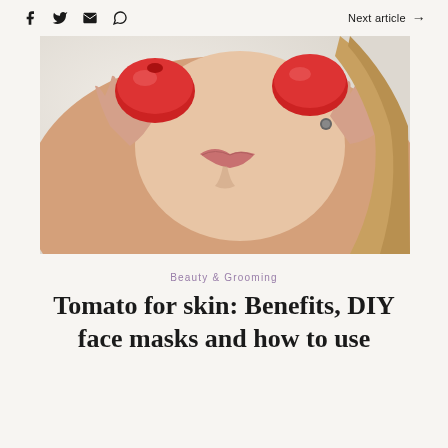Next article →
[Figure (photo): Woman applying a tomato or strawberry to her face as a skin mask, close-up showing lips, hands and cheek against a light textured background.]
Beauty & Grooming
Tomato for skin: Benefits, DIY face masks and how to use